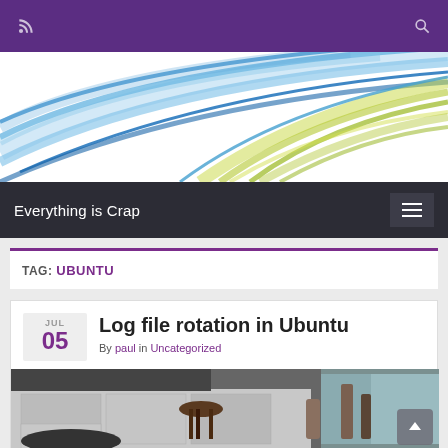Everything is Crap
[Figure (illustration): Abstract colorful banner with blue, green, and white flowing diagonal streaks on white background]
Everything is Crap
TAG: UBUNTU
Log file rotation in Ubuntu
By paul in Uncategorized
[Figure (photo): Photo showing a desk with a stool and various objects including what appears to be bottles or containers]